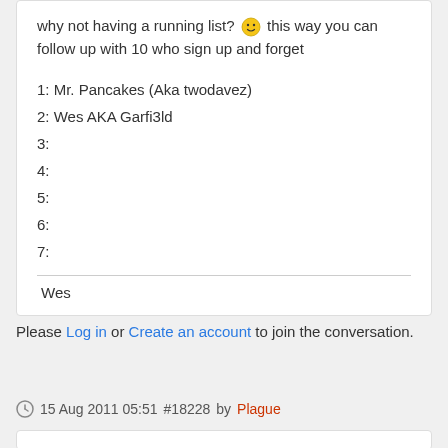why not having a running list? 🙂 this way you can follow up with 10 who sign up and forget
1: Mr. Pancakes (Aka twodavez)
2: Wes AKA Garfi3ld
3:
4:
5:
6:
7:
Wes
Please Log in or Create an account to join the conversation.
15 Aug 2011 05:51 #18228 by Plague